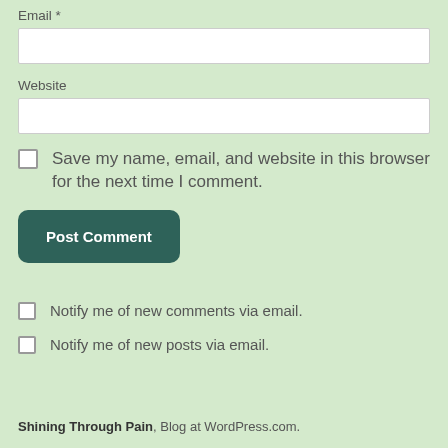Email *
Website
Save my name, email, and website in this browser for the next time I comment.
Post Comment
Notify me of new comments via email.
Notify me of new posts via email.
Shining Through Pain, Blog at WordPress.com.